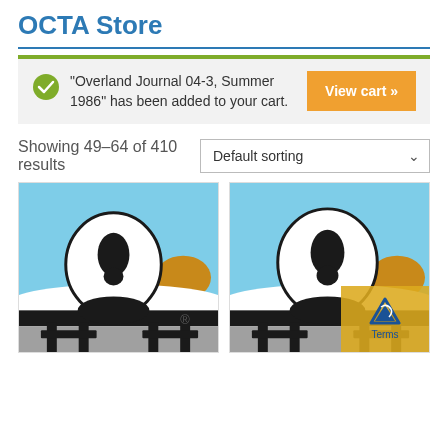OCTA Store
“Overland Journal 04-3, Summer 1986” has been added to your cart.
View cart »
Showing 49–64 of 410 results
Default sorting
[Figure (illustration): Two product thumbnail images side by side showing the OCTA logo — a stylized white bird/camel figure over a black vehicle silhouette against a blue sky with a brown/orange sun, with a registered trademark symbol on the left card.]